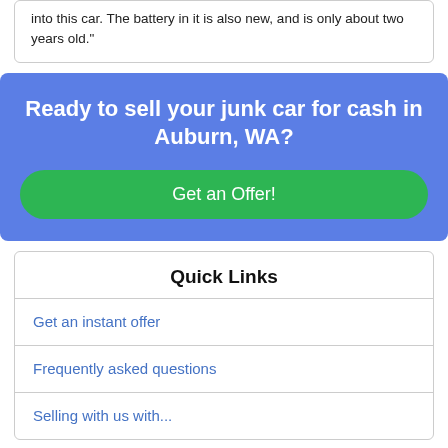into this car. The battery in it is also new, and is only about two years old."
Ready to sell your junk car for cash in Auburn, WA?
Get an Offer!
Quick Links
Get an instant offer
Frequently asked questions
Selling with us with...